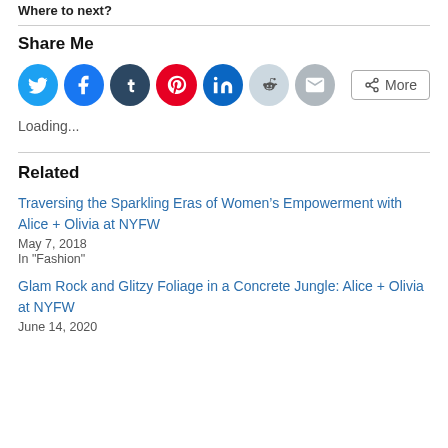Where to next?
Share Me
[Figure (infographic): Social share buttons: Twitter, Facebook, Tumblr, Pinterest, LinkedIn, Reddit, Email, More]
Loading...
Related
Traversing the Sparkling Eras of Women’s Empowerment with Alice + Olivia at NYFW
May 7, 2018
In "Fashion"
Glam Rock and Glitzy Foliage in a Concrete Jungle: Alice + Olivia at NYFW
June 14, 2020